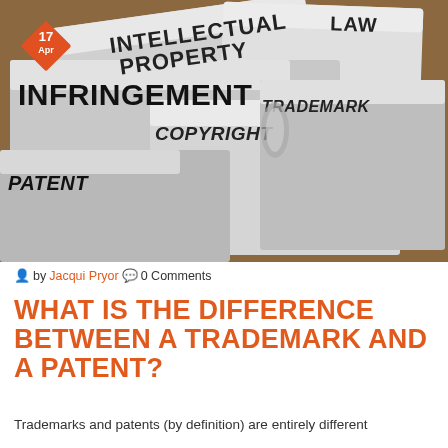[Figure (photo): Filing folders labeled with legal terms: INTELLECTUAL PROPERTY, LAW, INFRINGEMENT, TRADEMARK, COPYRIGHT, PATENT — arranged in a staggered stack on a wooden surface. An orange diamond-shaped date badge shows '17 Apr' in the top-left corner.]
by Jacqui Pryor  0 Comments
WHAT IS THE DIFFERENCE BETWEEN A TRADEMARK AND A PATENT?
Trademarks and patents (by definition) are entirely different